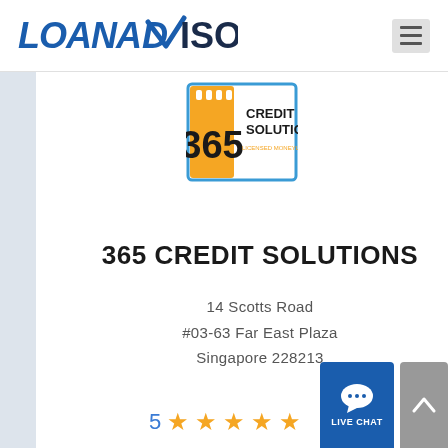[Figure (logo): LoanAdvisor logo — bold text with checkmark replacing the 'v' in ADVISOR]
[Figure (logo): 365 Credit Solutions licensed moneylender logo — calendar icon with 365 and credit solutions text]
365 CREDIT SOLUTIONS
14 Scotts Road
#03-63 Far East Plaza
Singapore 228213
5 ★★★★★
Read 252 Reviews